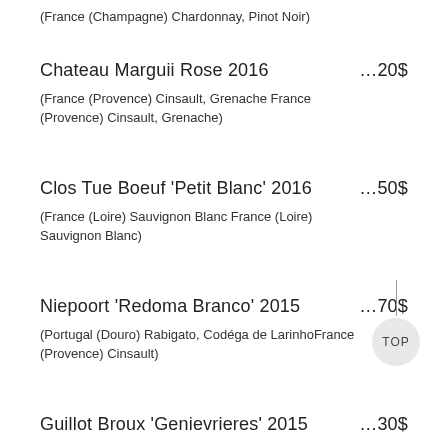(France (Champagne) Chardonnay, Pinot Noir)
Chateau Marguii Rose 2016 ...20$
(France (Provence) Cinsault, Grenache France (Provence) Cinsault, Grenache)
Clos Tue Boeuf 'Petit Blanc' 2016 ...50$
(France (Loire) Sauvignon Blanc France (Loire) Sauvignon Blanc)
Niepoort 'Redoma Branco' 2015 ...70$
(Portugal (Douro) Rabigato, Codéga de LarinhoFrance (Provence) Cinsault)
Guillot Broux 'Genievrieres' 2015 ...30$